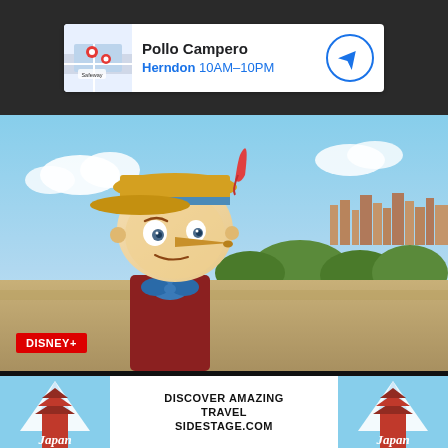[Figure (screenshot): Google Maps advertisement for Pollo Campero, Herndon 10AM-10PM with map thumbnail and navigation icon]
[Figure (photo): Disney+ Pinocchio CGI character looking to the side, wearing yellow hat with red feather and blue bow tie, outdoors with village in background. DISNEY+ badge in bottom left.]
Disney+ Movie and Shows Arriving in September
[Figure (screenshot): Japan travel advertisement: DISCOVER AMAZING TRAVEL SIDESTAGE.COM with Japan pagoda imagery on both sides]